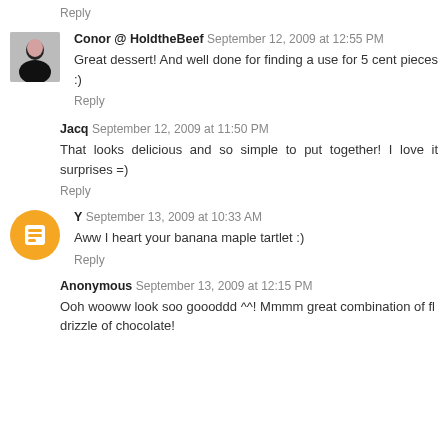Reply
Conor @ HoldtheBeef  September 12, 2009 at 12:55 PM
Great dessert! And well done for finding a use for 5 cent pieces :)
Reply
Jacq  September 12, 2009 at 11:50 PM
That looks delicious and so simple to put together! I love it surprises =)
Reply
Y  September 13, 2009 at 10:33 AM
Aww I heart your banana maple tartlet :)
Reply
Anonymous  September 13, 2009 at 12:15 PM
Ooh wooww look soo goooddd ^^! Mmmm great combination of fl drizzle of chocolate!